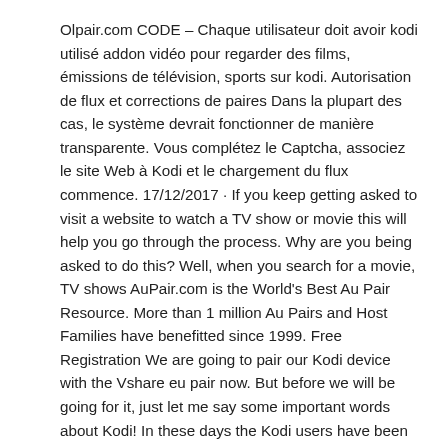Olpair.com CODE – Chaque utilisateur doit avoir kodi utilisé addon vidéo pour regarder des films, émissions de télévision, sports sur kodi. Autorisation de flux et corrections de paires Dans la plupart des cas, le système devrait fonctionner de manière transparente. Vous complétez le Captcha, associez le site Web à Kodi et le chargement du flux commence. 17/12/2017 · If you keep getting asked to visit a website to watch a TV show or movie this will help you go through the process. Why are you being asked to do this? Well, when you search for a movie, TV shows AuPair.com is the World's Best Au Pair Resource. More than 1 million Au Pairs and Host Families have benefitted since 1999. Free Registration We are going to pair our Kodi device with the Vshare eu pair now. But before we will be going for it, just let me say some important words about Kodi! In these days the Kodi users have been increased a lot. Why because the Kodi can allow any third party addons to watch their …